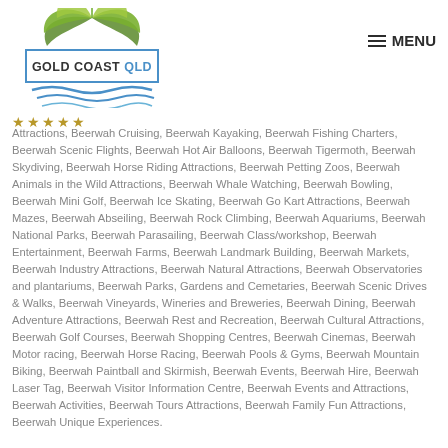[Figure (logo): Gold Coast QLD logo with green palm/fern leaves graphic above a blue rectangle containing 'GOLD COAST QLD' text, with blue wave lines below]
≡ MENU
★★★★★
Attractions, Beerwah Cruising, Beerwah Kayaking, Beerwah Fishing Charters, Beerwah Scenic Flights, Beerwah Hot Air Balloons, Beerwah Tigermoth, Beerwah Skydiving, Beerwah Horse Riding Attractions, Beerwah Petting Zoos, Beerwah Animals in the Wild Attractions, Beerwah Whale Watching, Beerwah Bowling, Beerwah Mini Golf, Beerwah Ice Skating, Beerwah Go Kart Attractions, Beerwah Mazes, Beerwah Abseiling, Beerwah Rock Climbing, Beerwah Aquariums, Beerwah National Parks, Beerwah Parasailing, Beerwah Class/workshop, Beerwah Entertainment, Beerwah Farms, Beerwah Landmark Building, Beerwah Markets, Beerwah Industry Attractions, Beerwah Natural Attractions, Beerwah Observatories and plantariums, Beerwah Parks, Gardens and Cemetaries, Beerwah Scenic Drives & Walks, Beerwah Vineyards, Wineries and Breweries, Beerwah Dining, Beerwah Adventure Attractions, Beerwah Rest and Recreation, Beerwah Cultural Attractions, Beerwah Golf Courses, Beerwah Shopping Centres, Beerwah Cinemas, Beerwah Motor racing, Beerwah Horse Racing, Beerwah Pools & Gyms, Beerwah Mountain Biking, Beerwah Paintball and Skirmish, Beerwah Events, Beerwah Hire, Beerwah Laser Tag, Beerwah Visitor Information Centre, Beerwah Events and Attractions, Beerwah Activities, Beerwah Tours Attractions, Beerwah Family Fun Attractions, Beerwah Unique Experiences.